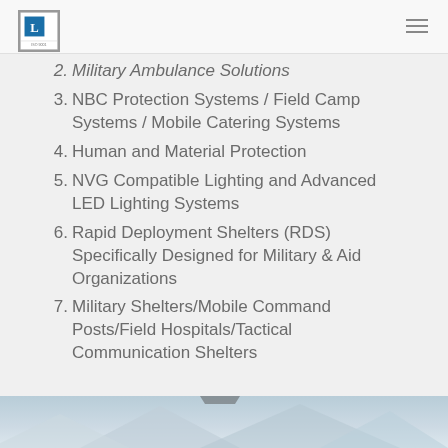2. Military Ambulance Solutions
3. NBC Protection Systems / Field Camp Systems / Mobile Catering Systems
4. Human and Material Protection
5. NVG Compatible Lighting and Advanced LED Lighting Systems
6. Rapid Deployment Shelters (RDS) Specifically Designed for Military & Aid Organizations
7. Military Shelters/Mobile Command Posts/Field Hospitals/Tactical Communication Shelters
[Figure (photo): Photo strip at bottom showing tents or shelters, partial view]